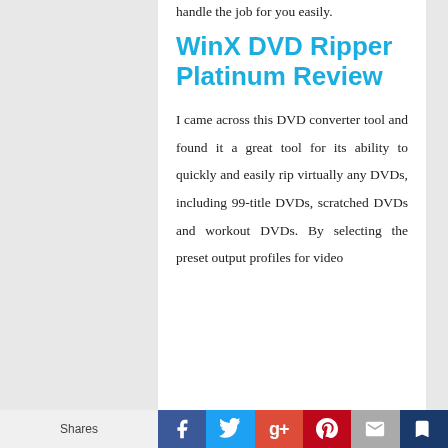handle the job for you easily.
WinX DVD Ripper Platinum Review
I came across this DVD converter tool and found it a great tool for its ability to quickly and easily rip virtually any DVDs, including 99-title DVDs, scratched DVDs and workout DVDs. By selecting the preset output profiles for video
Shares | Facebook | Twitter | Google+ | Pinterest | Email | Bookmark